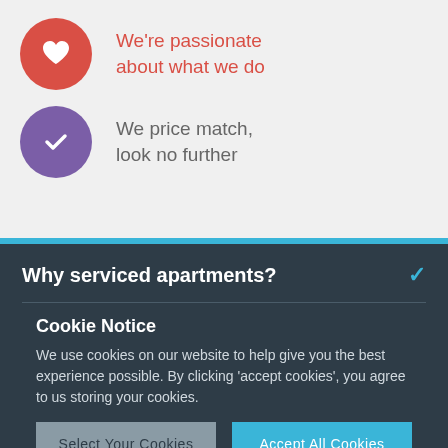We're passionate about what we do
We price match, look no further
Why serviced apartments?
Cookie Notice
We use cookies on our website to help give you the best experience possible. By clicking 'accept cookies', you agree to us storing your cookies.
Select Your Cookies | Accept All Cookies